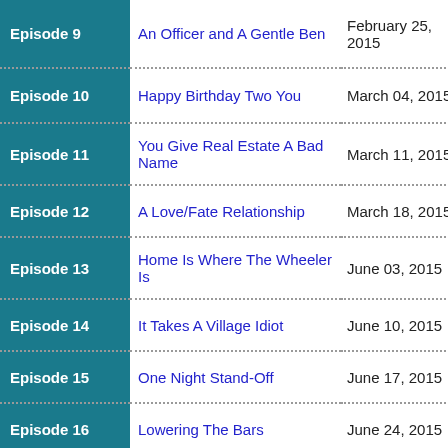| Episode | Title | Air Date |
| --- | --- | --- |
| Episode 9 | An Officer and A Gentle Ben | February 25, 2015 |
| Episode 10 | Happy Birthday Two You | March 04, 2015 |
| Episode 11 | You Give Real Estate A Bad Name | March 11, 2015 |
| Episode 12 | A Love/Fate Relationship | March 18, 2015 |
| Episode 13 | Home Is Where The Wheeler Is | June 03, 2015 |
| Episode 14 | It Takes A Village Idiot | June 10, 2015 |
| Episode 15 | One Night Stand-Off | June 17, 2015 |
| Episode 16 | Lowering The Bars | June 24, 2015 |